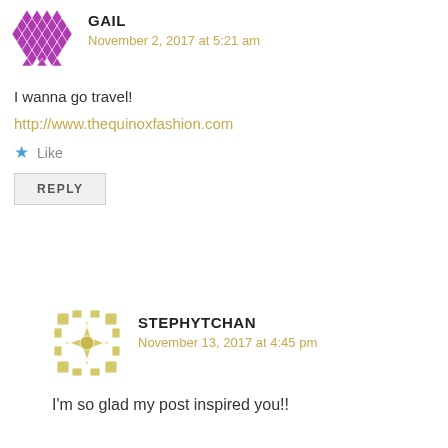[Figure (illustration): Purple geometric/mosaic avatar for user Gail]
GAIL
November 2, 2017 at 5:21 am
I wanna go travel!
http://www.thequinoxfashion.com
★ Like
REPLY
[Figure (illustration): Yellow/gold geometric/mosaic avatar for user Stephytchan]
STEPHYTCHAN
November 13, 2017 at 4:45 pm
I'm so glad my post inspired you!!